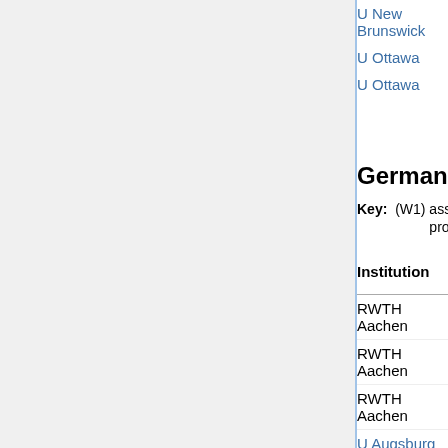| Institution | Areas | Apply by | Short and c |
| --- | --- | --- | --- |
| U New Brunswick | all | Nov 15 |  |
| U Ottawa | all | Nov 15 |  |
| U Ottawa | algebra | Nov 15 | Sabin Cautis |
Germany
Key: (W1) assistant professor (W2) associate professor (W3) p
| Institution | Areas | Apply by | Shor and c |
| --- | --- | --- | --- |
| RWTH Aachen | numer anal (W2) | Mar 31 |  |
| RWTH Aachen | discr opt (W2) | expired | Arie Kost |
| RWTH Aachen | math | expired | Chris Melc |
| U Augsburg | financial (W2) | Apr 16 |  |
| U Augsburg | diff geom (W3) | Oct 31 |  |
| U Augsburg | stat (W3) | expired | Yaren |
| U Bayreuth | real anal/PDE | May 20 |  |